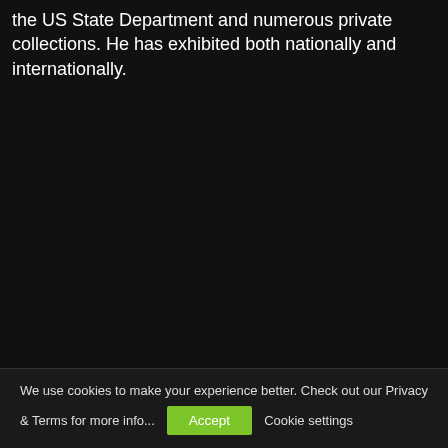the US State Department and numerous private collections. He has exhibited both nationally and internationally.
We use cookies to make your experience better. Check out our Privacy & Terms for more info... Accept Cookie settings